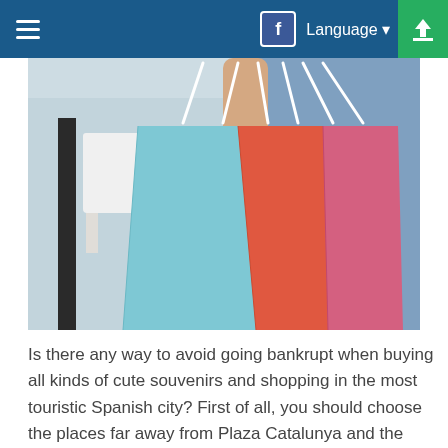≡  f Language ▾ ↑
[Figure (photo): Person holding multiple colorful shopping bags (light blue, orange-red, and pink) in front of a blurred indoor background with chairs and a table.]
Is there any way to avoid going bankrupt when buying all kinds of cute souvenirs and shopping in the most touristic Spanish city? First of all, you should choose the places far away from Plaza Catalunya and the Rambla Boulevard. The prices will be considerably lower in the small shops of Gràcia and El Clot when compared to the popular tourist destinations. An added advantage is that the small bodegas and champagne